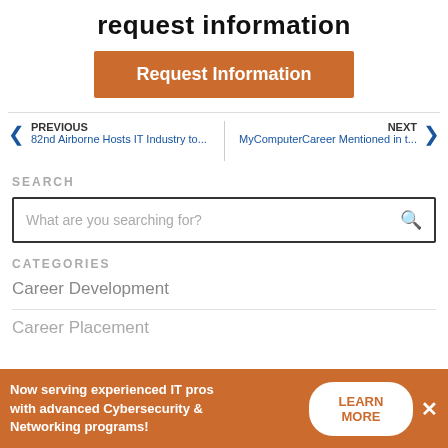request information
Request Information
PREVIOUS 82nd Airborne Hosts IT Industry to... | NEXT MyComputerCareer Mentioned in t...
SEARCH
What are you searching for?
CATEGORIES
Career Development
Career Placement
Now serving experienced IT pros with advanced Cybersecurity & Networking programs! LEARN MORE ×